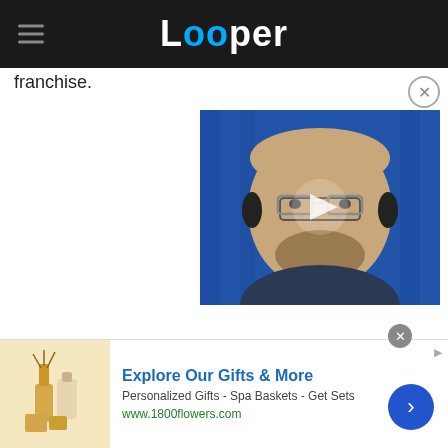Looper
franchise.
[Figure (screenshot): Video thumbnail showing a man with glasses against a blue curtain background, with a play button overlay in the center]
[Figure (infographic): Advertisement banner for 1800flowers.com: 'Explore Our Gifts & More' - Personalized Gifts - Spa Baskets - Get Sets, www.1800flowers.com, with product image and blue arrow CTA button]